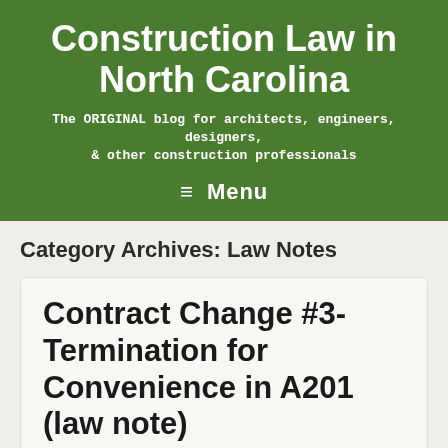Construction Law in North Carolina
The ORIGINAL blog for architects, engineers, designers, & other construction professionals
≡ Menu
Category Archives: Law Notes
Contract Change #3-Termination for Convenience in A201 (law note)